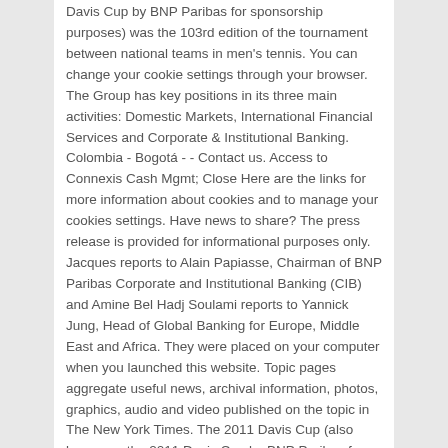Davis Cup by BNP Paribas for sponsorship purposes) was the 103rd edition of the tournament between national teams in men's tennis. You can change your cookie settings through your browser. The Group has key positions in its three main activities: Domestic Markets, International Financial Services and Corporate & Institutional Banking. Colombia - Bogotá - - Contact us. Access to Connexis Cash Mgmt; Close Here are the links for more information about cookies and to manage your cookies settings. Have news to share? The press release is provided for informational purposes only. Jacques reports to Alain Papiasse, Chairman of BNP Paribas Corporate and Institutional Banking (CIB) and Amine Bel Hadj Soulami reports to Yannick Jung, Head of Global Banking for Europe, Middle East and Africa. They were placed on your computer when you launched this website. Topic pages aggregate useful news, archival information, photos, graphics, audio and video published on the topic in The New York Times. The 2011 Davis Cup (also known as the 2011 Davis Cup by BNP Paribas for sponsorship purposes) was the 100th edition of a tournament between national teams in men's tennis. He will also bring the full spectrum of our expertise in energy transition to the region.". He added, "I would like to thank